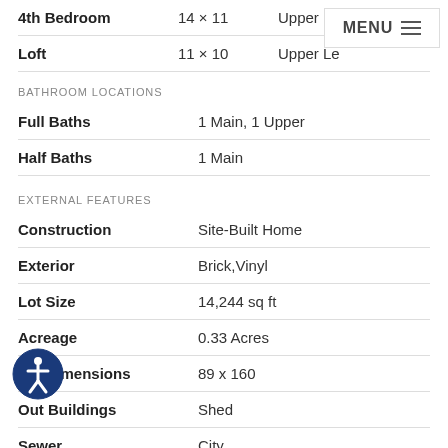| Room | Dimensions | Level |
| --- | --- | --- |
| 4th Bedroom | 14 × 11 | Upper Level |
| Loft | 11 × 10 | Upper Level |
BATHROOM LOCATIONS
|  |  |
| --- | --- |
| Full Baths | 1 Main, 1 Upper |
| Half Baths | 1 Main |
EXTERNAL FEATURES
|  |  |
| --- | --- |
| Construction | Site-Built Home |
| Exterior | Brick,Vinyl |
| Lot Size | 14,244 sq ft |
| Acreage | 0.33 Acres |
| Lot Dimensions | 89 x 160 |
| Out Buildings | Shed |
| Sewer | City |
|  | City |
| Fence | None |